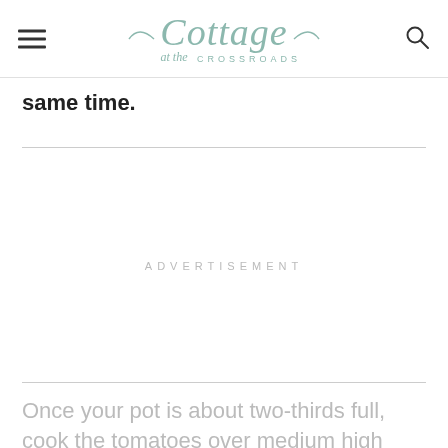Cottage at the Crossroads
same time.
ADVERTISEMENT
Once your pot is about two-thirds full, cook the tomatoes over medium high